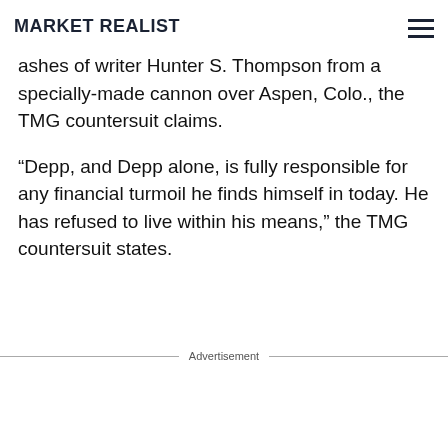MARKET REALIST
ashes of writer Hunter S. Thompson from a specially-made cannon over Aspen, Colo., the TMG countersuit claims.
“Depp, and Depp alone, is fully responsible for any financial turmoil he finds himself in today. He has refused to live within his means,” the TMG countersuit states.
Advertisement